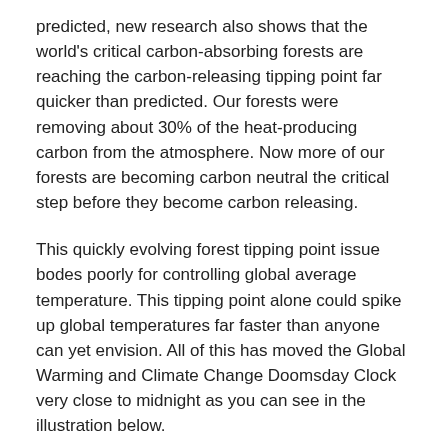predicted, new research also shows that the world's critical carbon-absorbing forests are reaching the carbon-releasing tipping point far quicker than predicted. Our forests were removing about 30% of the heat-producing carbon from the atmosphere. Now more of our forests are becoming carbon neutral the critical step before they become carbon releasing.
This quickly evolving forest tipping point issue bodes poorly for controlling global average temperature. This tipping point alone could spike up global temperatures far faster than anyone can yet envision. All of this has moved the Global Warming and Climate Change Doomsday Clock very close to midnight as you can see in the illustration below.